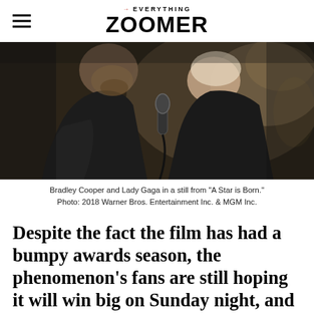→EVERYTHING ZOOMER
[Figure (photo): Bradley Cooper and Lady Gaga facing each other closely, sharing a microphone, in a scene from 'A Star is Born.' Bradley Cooper is on the left wearing a dark sleeveless top, Lady Gaga is on the right wearing a black outfit.]
Bradley Cooper and Lady Gaga in a still from "A Star is Born." Photo: 2018 Warner Bros. Entertainment Inc. & MGM Inc.
Despite the fact the film has had a bumpy awards season, the phenomenon's fans are still hoping it will win big on Sunday night, and not